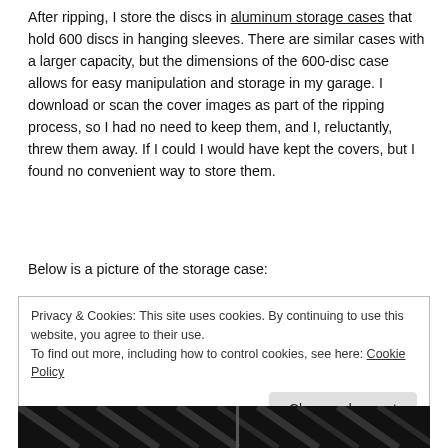After ripping, I store the discs in aluminum storage cases that hold 600 discs in hanging sleeves. There are similar cases with a larger capacity, but the dimensions of the 600-disc case allows for easy manipulation and storage in my garage. I download or scan the cover images as part of the ripping process, so I had no need to keep them, and I, reluctantly, threw them away. If I could I would have kept the covers, but I found no convenient way to store them.
Below is a picture of the storage case:
Privacy & Cookies: This site uses cookies. By continuing to use this website, you agree to their use.
To find out more, including how to control cookies, see here: Cookie Policy
[Figure (photo): Bottom portion of an aluminum disc storage case, visible at the very bottom of the page.]